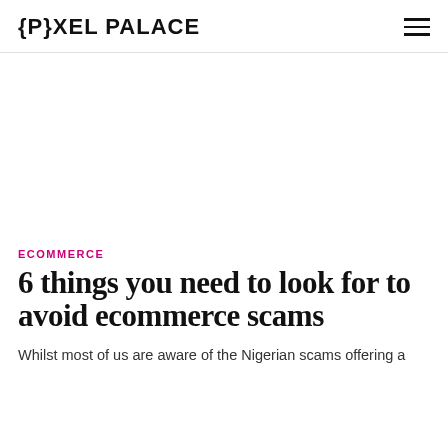{P}XEL PALACE
[Figure (other): Large white/blank image area placeholder for article hero image]
ECOMMERCE
6 things you need to look for to avoid ecommerce scams
Whilst most of us are aware of the Nigerian scams offering a